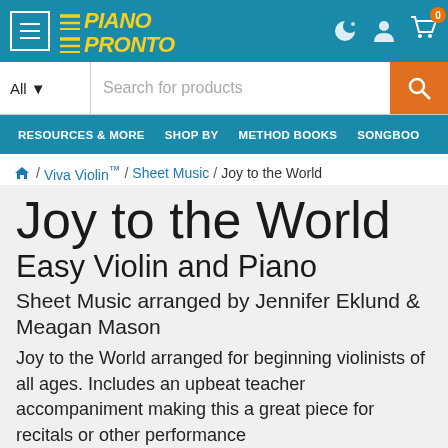Piano Pronto — navigation header with menu, logo, icons, search bar, and nav links: RESOURCES & MORE, SHOP BY, METHOD BOOKS, SONGBOO
🏠 / Viva Violin™ / Sheet Music / Joy to the World
Joy to the World
Easy Violin and Piano
Sheet Music arranged by Jennifer Eklund & Meagan Mason
Joy to the World arranged for beginning violinists of all ages. Includes an upbeat teacher accompaniment making this a great piece for recitals or other performance